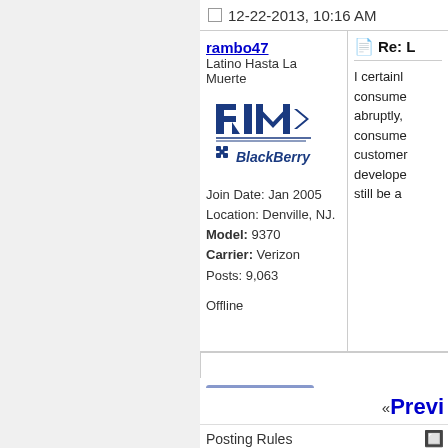12-22-2013, 10:16 AM
rambo47
Latino Hasta La Muerte
[Figure (logo): RIM BlackBerry logo — blue RIM wordmark above blue BlackBerry logo with BB icon]
Join Date: Jan 2005
Location: Denville, NJ.
Model: 9370
Carrier: Verizon
Posts: 9,063
Offline
Re: L
I certainl consumer abruptly, consume customer develope still be a
CLOSED
« Previ
Posting Rules